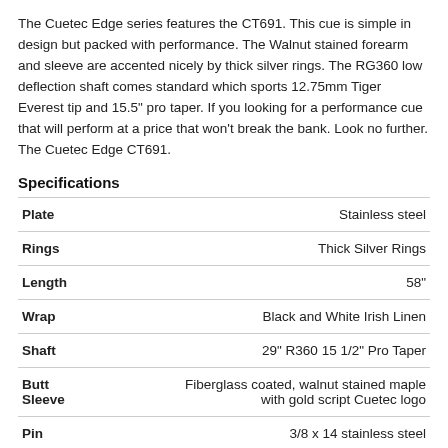The Cuetec Edge series features the CT691. This cue is simple in design but packed with performance. The Walnut stained forearm and sleeve are accented nicely by thick silver rings. The RG360 low deflection shaft comes standard which sports 12.75mm Tiger Everest tip and 15.5" pro taper. If you looking for a performance cue that will perform at a price that won't break the bank. Look no further. The Cuetec Edge CT691.
Specifications
|  |  |
| --- | --- |
| Plate | Stainless steel |
| Rings | Thick Silver Rings |
| Length | 58" |
| Wrap | Black and White Irish Linen |
| Shaft | 29" R360 15 1/2" Pro Taper |
| Butt Sleeve | Fiberglass coated, walnut stained maple with gold script Cuetec logo |
| Pin | 3/8 x 14 stainless steel |